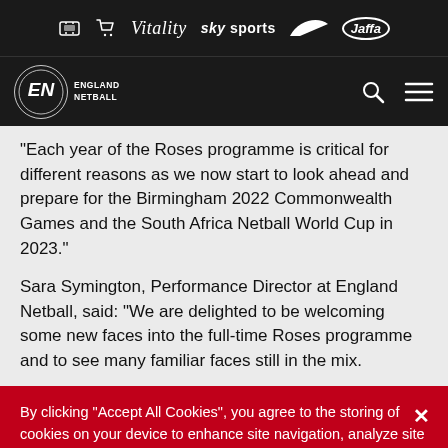[Figure (logo): England Netball website header with sponsor logos: Vitality, Sky Sports, Nike, Jaffa, plus ticket and cart icons on dark background]
"Each year of the Roses programme is critical for different reasons as we now start to look ahead and prepare for the Birmingham 2022 Commonwealth Games and the South Africa Netball World Cup in 2023."
Sara Symington, Performance Director at England Netball, said: "We are delighted to be welcoming some new faces into the full-time Roses programme and to see many familiar faces still in the mix.
By clicking "Accept All Cookies", you agree to the storing of cookies on your device to enhance site navigation, analyze site usage, and assist in our marketing efforts. View our Cookie Policy here - Cookie Policy